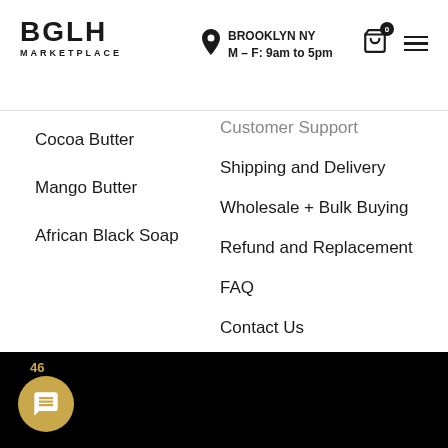BGLH MARKETPLACE | BROOKLYN NY M–F: 9am to 5pm
Cocoa Butter
Mango Butter
African Black Soap
Customer Support
Shipping and Delivery
Wholesale + Bulk Buying
Refund and Replacement
FAQ
Contact Us
Privacy Policy
Terms and Conditions
46